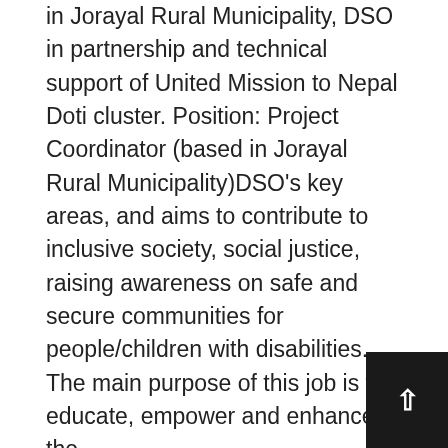in Jorayal Rural Municipality, DSO in partnership and technical support of United Mission to Nepal Doti cluster. Position: Project Coordinator (based in Jorayal Rural Municipality)DSO's key areas, and aims to contribute to inclusive society, social justice, raising awareness on safe and secure communities for people/children with disabilities. The main purpose of this job is to educate, empower and enhance the…
Read More